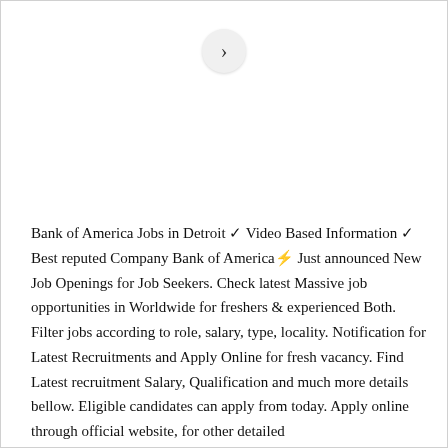[Figure (other): A circular navigation button with a right-pointing chevron/arrow (›) on a light grey background]
Bank of America Jobs in Detroit ✓ Video Based Information ✓ Best reputed Company Bank of America⚡ Just announced New Job Openings for Job Seekers. Check latest Massive job opportunities in Worldwide for freshers & experienced Both. Filter jobs according to role, salary, type, locality. Notification for Latest Recruitments and Apply Online for fresh vacancy. Find Latest recruitment Salary, Qualification and much more details bellow. Eligible candidates can apply from today. Apply online through official website, for other detailed